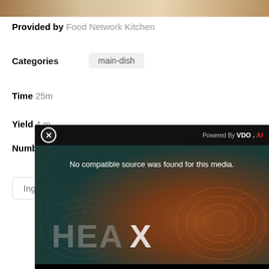[Figure (photo): Top portion of a food photo showing a dish on a white plate]
Provided by Food Network Kitchen
Categories  main-dish
Time 25m
Yield 4 m
Number
Ingred
[Figure (screenshot): Video player overlay showing 'No compatible source was found for this media.' with HEA X text on a topo-style heat map background. Powered by VDO.AI branding shown.]